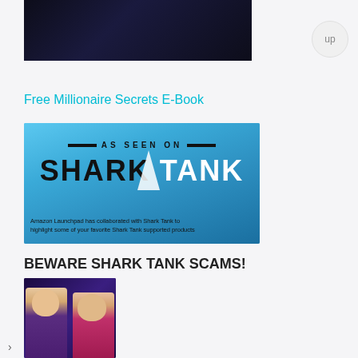[Figure (screenshot): Dark screenshot of a video or webpage, showing a dim blue/black scene]
up
Free Millionaire Secrets E-Book
[Figure (screenshot): As Seen On Shark Tank promotional banner with blue ocean background. Text reads: AS SEEN ON SHARK TANK. Amazon Launchpad has collaborated with Shark Tank to highlight some of your favorite Shark Tank supported products.]
BEWARE SHARK TANK SCAMS!
[Figure (photo): Two women on a dark stage, one wearing purple shirt and one wearing pink shirt, appearing to be contestants on Shark Tank]